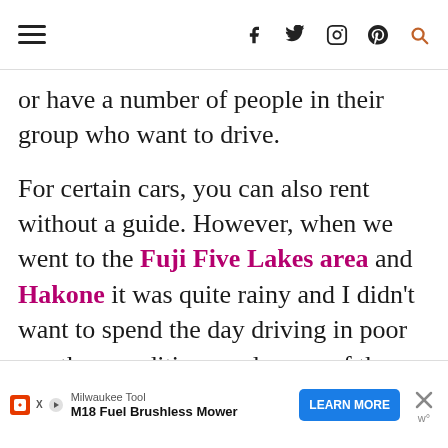[hamburger menu] [social icons: facebook, twitter, instagram, pinterest] [search]
or have a number of people in their group who want to drive.

For certain cars, you can also rent without a guide. However, when we went to the Fuji Five Lakes area and Hakone it was quite rainy and I didn't want to spend the day driving in poor weather conditions and many of the tours are canceled in the event of inclement weather. Thus, I didn't end up renting a car from
[Figure (screenshot): Advertisement banner: Milwaukee Tool M18 Fuel Brushless Mower with LEARN MORE button and close (X) button with w° logo]